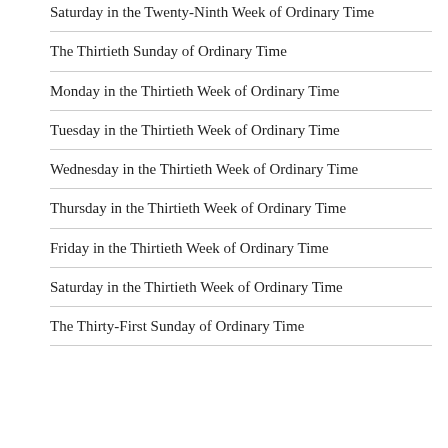Saturday in the Twenty-Ninth Week of Ordinary Time
The Thirtieth Sunday of Ordinary Time
Monday in the Thirtieth Week of Ordinary Time
Tuesday in the Thirtieth Week of Ordinary Time
Wednesday in the Thirtieth Week of Ordinary Time
Thursday in the Thirtieth Week of Ordinary Time
Friday in the Thirtieth Week of Ordinary Time
Saturday in the Thirtieth Week of Ordinary Time
The Thirty-First Sunday of Ordinary Time